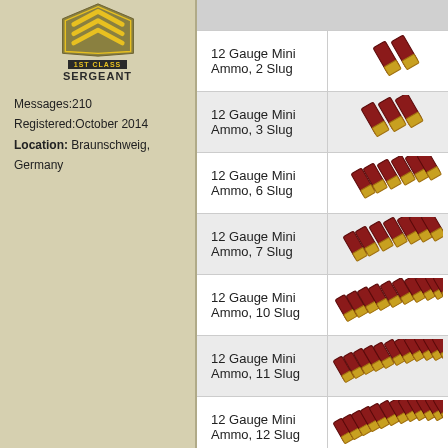[Figure (illustration): 1st Class Sergeant rank badge with yellow chevron insignia on dark background]
Messages:210
Registered:October 2014
Location: Braunschweig, Germany
| Item Name | Image |
| --- | --- |
| 12 Gauge Mini Ammo, 2 Slug | [shotgun shells icon] |
| 12 Gauge Mini Ammo, 3 Slug | [shotgun shells icon] |
| 12 Gauge Mini Ammo, 6 Slug | [shotgun shells icon] |
| 12 Gauge Mini Ammo, 7 Slug | [shotgun shells icon] |
| 12 Gauge Mini Ammo, 10 Slug | [shotgun shells icon] |
| 12 Gauge Mini Ammo, 11 Slug | [shotgun shells icon] |
| 12 Gauge Mini Ammo, 12 Slug | [shotgun shells icon] |
| 12 Gauge Mini Ammo, 14 Slug | [shotgun shells icon] |